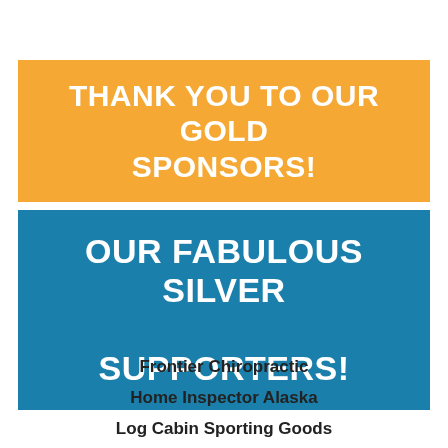THANK YOU TO OUR GOLD SPONSORS!
OUR FABULOUS SILVER SUPPORTERS!
Frontier Chiropractic
Home Inspector Alaska
Log Cabin Sporting Goods